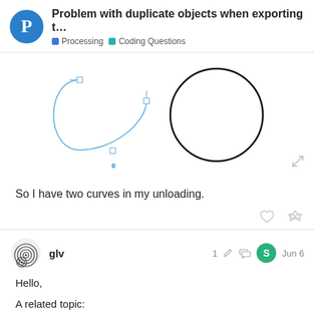Problem with duplicate objects when exporting t... | Processing | Coding Questions
[Figure (illustration): Two circles side by side: left one is a light blue outlined arc/curve (bezier with control points shown), right one is a solid black circle outline. Representing two curves in the Processing sketch.]
So I have two curves in my unloading.
glv
Hello,
A related topic:
https://discourse.processing.org/t/how-do-i...